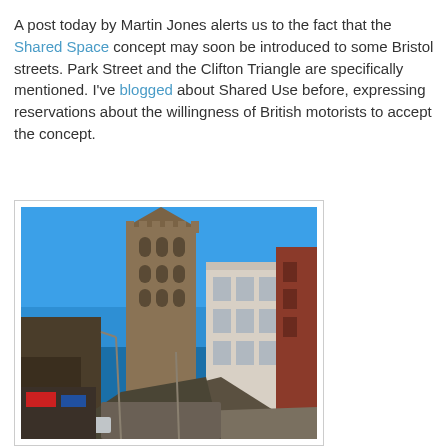A post today by Martin Jones alerts us to the fact that the Shared Space concept may soon be introduced to some Bristol streets. Park Street and the Clifton Triangle are specifically mentioned. I've blogged about Shared Use before, expressing reservations about the willingness of British motorists to accept the concept.
[Figure (photo): A street-level photograph looking up Park Street in Bristol, showing the tall Gothic tower of the Wills Memorial Building (University of Bristol) against a clear blue sky. On the right side, Victorian and Edwardian buildings including white and red-brick facades. The street is busy with cars, buses, and pedestrians.]